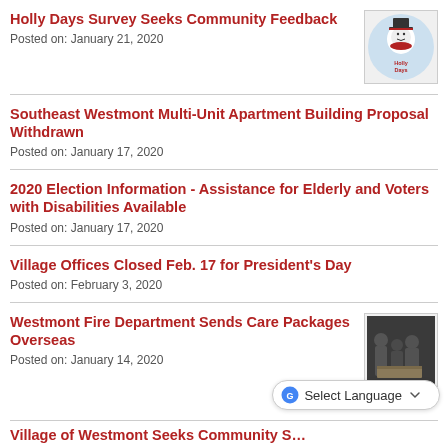Holly Days Survey Seeks Community Feedback
Posted on: January 21, 2020
[Figure (logo): Holly Days logo — snowman with hat on blue circular background with text 'Holly Days']
Southeast Westmont Multi-Unit Apartment Building Proposal Withdrawn
Posted on: January 17, 2020
2020 Election Information - Assistance for Elderly and Voters with Disabilities Available
Posted on: January 17, 2020
Village Offices Closed Feb. 17 for President's Day
Posted on: February 3, 2020
Westmont Fire Department Sends Care Packages Overseas
Posted on: January 14, 2020
[Figure (photo): Photo of firefighters packing care packages]
Village of Westmont Seeks Community S…